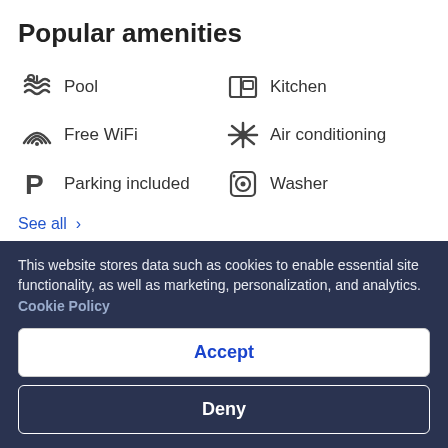Popular amenities
Pool
Kitchen
Free WiFi
Air conditioning
Parking included
Washer
See all >
[Figure (map): Map snippet showing Black River area with road A3]
This website stores data such as cookies to enable essential site functionality, as well as marketing, personalization, and analytics. Cookie Policy
Accept
Deny